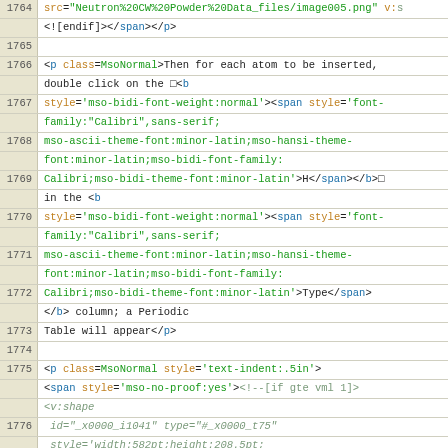Code view showing HTML source lines 1764-1782, including XML/HTML markup for a document about neutron CW powder data with atom insertion instructions and periodic table reference.